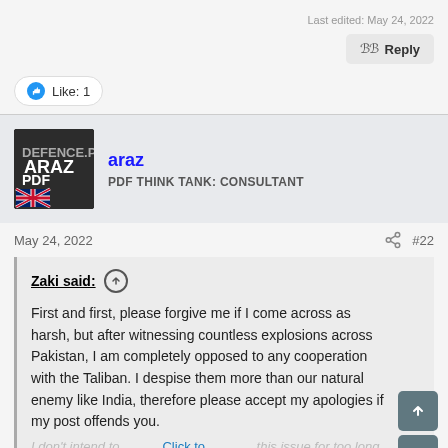Last edited: May 24, 2022
Reply
Like: 1
araz
PDF THINK TANK: CONSULTANT
May 24, 2022
#22
Zaki said: ↑ First and first, please forgive me if I come across as harsh, but after witnessing countless explosions across Pakistan, I am completely opposed to any cooperation with the Taliban. I despise them more than our natural enemy like India, therefore please accept my apologies if my post offends you.
I don't intend to continue this issue for too long as I
Click to expand...